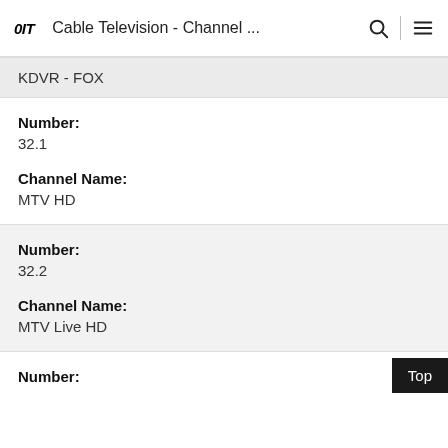OIT  Cable Television - Channel ...
KDVR - FOX
Number:
32.1
Channel Name:
MTV HD
Number:
32.2
Channel Name:
MTV Live HD
Number: